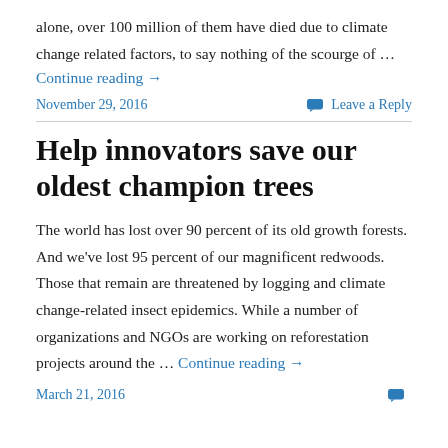alone, over 100 million of them have died due to climate change related factors, to say nothing of the scourge of …
Continue reading →
November 29, 2016
Leave a Reply
Help innovators save our oldest champion trees
The world has lost over 90 percent of its old growth forests. And we've lost 95 percent of our magnificent redwoods. Those that remain are threatened by logging and climate change-related insect epidemics. While a number of organizations and NGOs are working on reforestation projects around the … Continue reading →